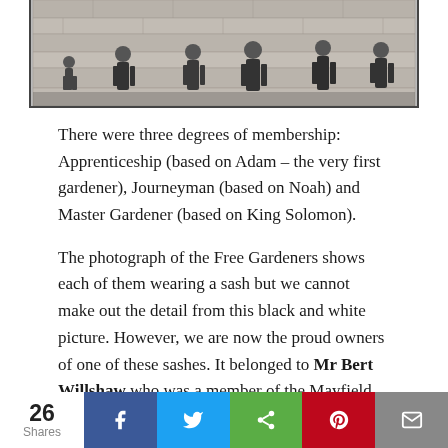[Figure (photo): Black and white historical photograph showing several people standing in front of a stone wall building, likely Free Gardeners members]
There were three degrees of membership: Apprenticeship (based on Adam – the very first gardener), Journeyman (based on Noah) and Master Gardener (based on King Solomon).
The photograph of the Free Gardeners shows each of them wearing a sash but we cannot make out the detail from this black and white picture. However, we are now the proud owners of one of these sashes. It belonged to Mr Bert Willshaw who was a member of the Mayfield Lodge. He wore it at Lodge meetings which were held at the Queens Arms at the bottom of Old Bank; the building is now an apartment block. The sash is six feet long and
26 Shares  [Facebook] [Twitter] [Share] [Pinterest] [Mail]